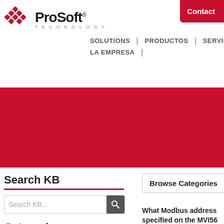[Figure (logo): ProSoft Technology logo with red diamond grid pattern and company name]
Contact
SOLUTIONS | PRODUCTOS | SERVICIOS | LA EMPRESA
Knowledge Base / Protocols
Modbus
Search KB
Search KB...
Categories
Browse Categories
What Modbus address specified on the MVI56 the MVI56-mcm is the